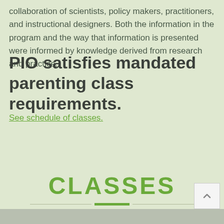collaboration of scientists, policy makers, practitioners, and instructional designers. Both the information in the program and the way that information is presented were informed by knowledge derived from research and practice.
PIO satisfies mandated parenting class requirements.
See schedule of classes.
CLASSES